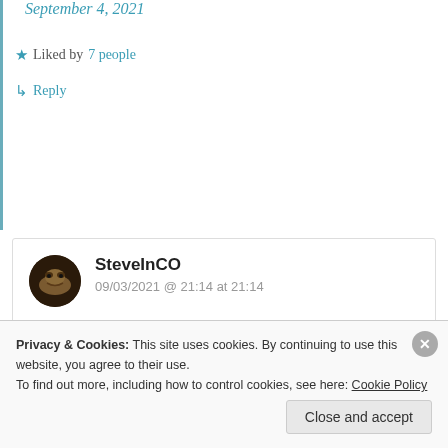September 4, 2021
★ Liked by 7 people
↳ Reply
SteveInCO
09/03/2021 @ 21:14 at 21:14
Well, I finished editing the Saturday thread…over at the Qtree.
Privacy & Cookies: This site uses cookies. By continuing to use this website, you agree to their use.
To find out more, including how to control cookies, see here: Cookie Policy
Close and accept